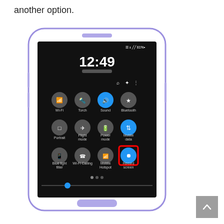another option.
[Figure (screenshot): Samsung Android phone showing the notification/quick settings panel with quick-toggle icons. The time reads 12:49. Icons shown: Wi-Fi, Torch, Sound (highlighted blue), Bluetooth, Portrait, Flight mode, Power mode, Mobile data (highlighted blue), Blue light filter, Wi-Fi Calling, Mobile Hotspot, and Record screen (highlighted with a red rectangle border).]